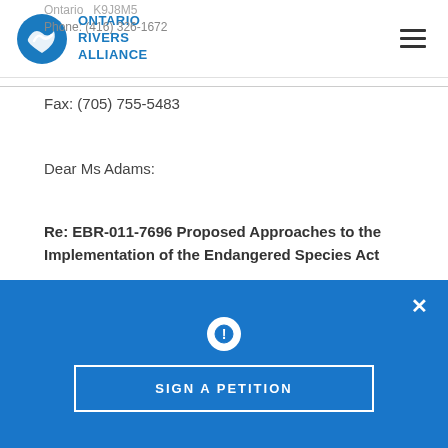Ontario Rivers Alliance
Fax: (705) 755-5483
Dear Ms Adams:
Re: EBR-011-7696 Proposed Approaches to the Implementation of the Endangered Species Act
The Nottawasaga Steelheaders is a
[Figure (infographic): Blue notification overlay with exclamation icon and SIGN A PETITION button]